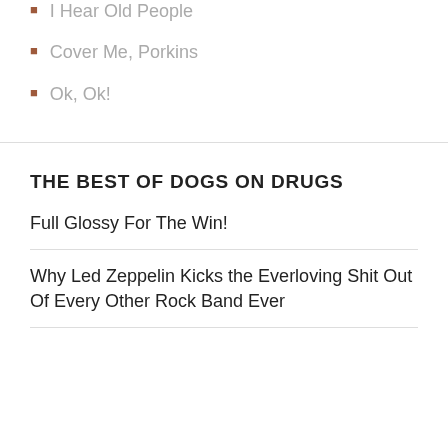I Hear Old People
Cover Me, Porkins
Ok, Ok!
THE BEST OF DOGS ON DRUGS
Full Glossy For The Win!
Why Led Zeppelin Kicks the Everloving Shit Out Of Every Other Rock Band Ever